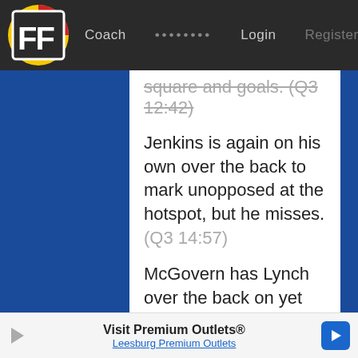FF Coach ........ Login Register
square and goals. (Q3 12:42)
Jenkins is again on his own over the back to mark unopposed at the hotspot, but he misses. (Q3 14:57)
McGovern has Lynch over the back on yet another fast break, he marks 15m out on the flank but misses. (Q3 16:32)
Jenkins soccers a loose ball from a stoppage on the HFF< Betts marks 20m out on the flank and goals. (Q3 17:27)
Douglas snaps truly from a stoppage near the hotspot. The Blue resistance is shot. (Q3 25:29)
Cameron passes to Sloane 35m out on the flank after Docherty falls over. He misses. (Q3 28:15)
Visit Premium Outlets® Leesburg Premium Outlets